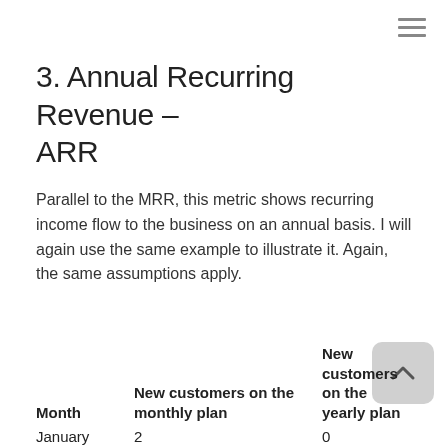3. Annual Recurring Revenue – ARR
Parallel to the MRR, this metric shows recurring income flow to the business on an annual basis. I will again use the same example to illustrate it. Again, the same assumptions apply.
| Month | New customers on the monthly plan | New customers on the yearly plan |
| --- | --- | --- |
| January | 2 | 0 |
| February | 2 | 2 |
| March | 1 | 1 |